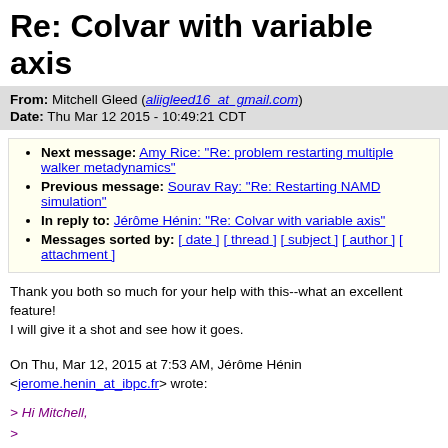Re: Colvar with variable axis
From: Mitchell Gleed (aliigleed16_at_gmail.com)
Date: Thu Mar 12 2015 - 10:49:21 CDT
Next message: Amy Rice: "Re: problem restarting multiple walker metadynamics"
Previous message: Sourav Ray: "Re: Restarting NAMD simulation"
In reply to: Jérôme Hénin: "Re: Colvar with variable axis"
Messages sorted by: [ date ] [ thread ] [ subject ] [ author ] [ attachment ]
Thank you both so much for your help with this--what an excellent feature!
I will give it a shot and see how it goes.
On Thu, Mar 12, 2015 at 7:53 AM, Jérôme Hénin <jerome.henin_at_ibpc.fr> wrote:
> Hi Mitchell,
>
> The refPositionsGroup is internal to the atom group, and entirely